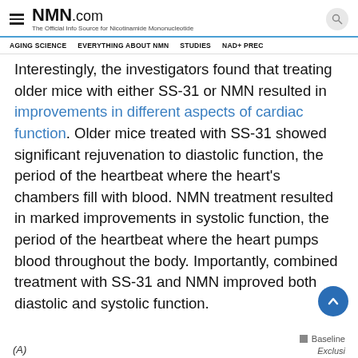NMN.com — The Official Info Source for Nicotinamide Mononucleotide
AGING SCIENCE | EVERYTHING ABOUT NMN | STUDIES | NAD+ PREC
Interestingly, the investigators found that treating older mice with either SS-31 or NMN resulted in improvements in different aspects of cardiac function. Older mice treated with SS-31 showed significant rejuvenation to diastolic function, the period of the heartbeat where the heart's chambers fill with blood. NMN treatment resulted in marked improvements in systolic function, the period of the heartbeat where the heart pumps blood throughout the body. Importantly, combined treatment with SS-31 and NMN improved both diastolic and systolic function.
Baseline